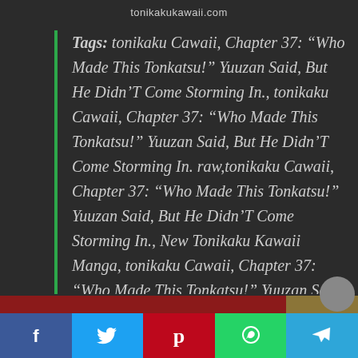tonikakukawaii.com
Tags: tonikaku Cawaii, Chapter 37: “Who Made This Tonkatsu!” Yuuzan Said, But He Didn’T Come Storming In., tonikaku Cawaii, Chapter 37: “Who Made This Tonkatsu!” Yuuzan Said, But He Didn’T Come Storming In. raw,tonikaku Cawaii, Chapter 37: “Who Made This Tonkatsu!” Yuuzan Said, But He Didn’T Come Storming In., New Tonikaku Kawaii Manga, tonikaku Cawaii, Chapter 37: “Who Made This Tonkatsu!” Yuuzan Said, But He Didn’T Come Storming In. English, read tonikaku Cawaii, Chapter 37: “Who Made This Tonkatsu!” Y...